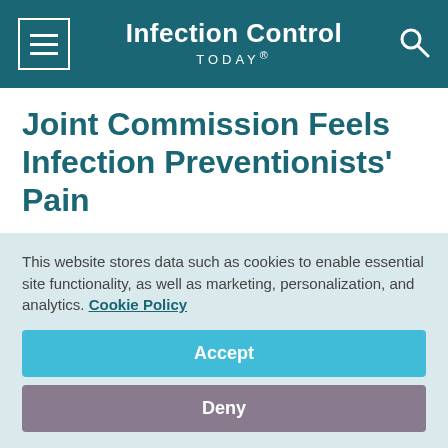Infection Control TODAY®
Joint Commission Feels Infection Preventionists' Pain
September 22, 2020
Frank Diamond
[Figure (infographic): Social share icons: Facebook, Twitter, LinkedIn, Pinterest, Email]
This website stores data such as cookies to enable essential site functionality, as well as marketing, personalization, and analytics. Cookie Policy
Accept
Deny